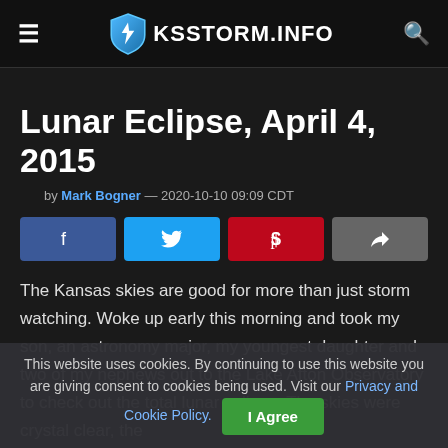KSSTORM.INFO
Lunar Eclipse, April 4, 2015
by Mark Bogner — 2020-10-10 09:09 CDT
[Figure (other): Social share buttons: Facebook, Twitter, Pinterest, Share]
The Kansas skies are good for more than just storm watching. Woke up early this morning and took my son, an astronomy major, my youngest daughter and two of my nephews out to the Lake Afton Observatory to check out the total lunar eclipse. The skies were crystal clear, the
This website uses cookies. By continuing to use this website you are giving consent to cookies being used. Visit our Privacy and Cookie Policy. I Agree